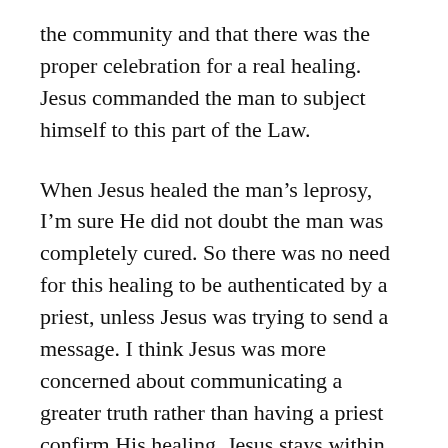the community and that there was the proper celebration for a real healing. Jesus commanded the man to subject himself to this part of the Law.
When Jesus healed the man's leprosy, I'm sure He did not doubt the man was completely cured. So there was no need for this healing to be authenticated by a priest, unless Jesus was trying to send a message. I think Jesus was more concerned about communicating a greater truth rather than having a priest confirm His healing. Jesus stays within the Letter of the Law in order to help them see His identity. He uses these circumstances more as a “testimony” to them. It was meant to